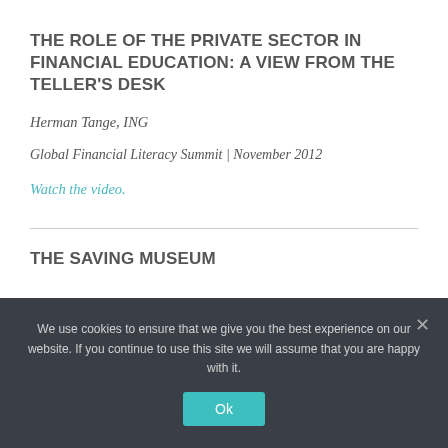THE ROLE OF THE PRIVATE SECTOR IN FINANCIAL EDUCATION: A VIEW FROM THE TELLER'S DESK
Herman Tange, ING
Global Financial Literacy Summit | November 2012
Watch the video.
THE SAVING MUSEUM
We use cookies to ensure that we give you the best experience on our website. If you continue to use this site we will assume that you are happy with it.